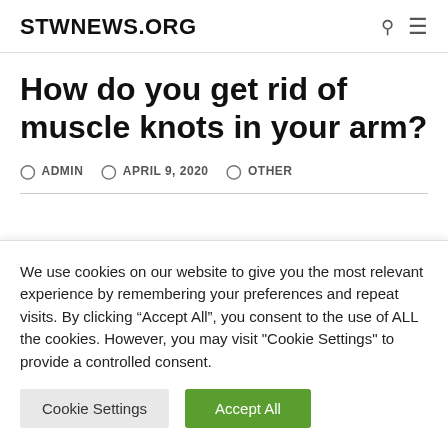STWNEWS.ORG
How do you get rid of muscle knots in your arm?
ADMIN  APRIL 9, 2020  OTHER
We use cookies on our website to give you the most relevant experience by remembering your preferences and repeat visits. By clicking “Accept All”, you consent to the use of ALL the cookies. However, you may visit "Cookie Settings" to provide a controlled consent.